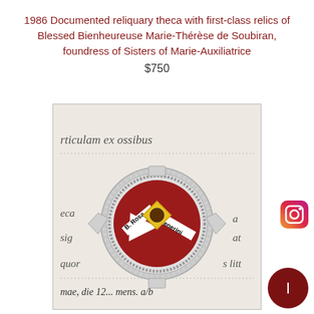1986 Documented reliquary theca with first-class relics of Blessed Bienheureuse Marie-Thérèse de Soubiran, foundress of Sisters of Marie-Auxiliatrice
$750
[Figure (photo): A silver ornate reliquary theca (medallion) with red enamel center containing relic labels reading 'B. Rosa Venerini', resting on a paper document with Latin text including 'rticulam ex ossibus', 'eca', 'sig', 'quor', 'mae, die 12... mens. a/p']